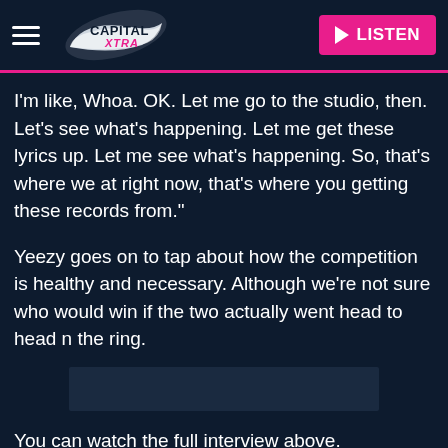Capital Xtra — LISTEN
I'm like, Whoa. OK. Let me go to the studio, then. Let's see what's happening. Let me get these lyrics up. Let me see what's happening. So, that's where we at right now, that's where you getting these records from."
Yeezy goes on to tap about how the competition is healthy and necessary. Although we're not sure who would win if the two actually went head to head n the ring.
[Figure (screenshot): Dark video player placeholder rectangle]
You can watch the full interview above.
Knaye West's seventh album, 'So Help Me God', is expected later this year.